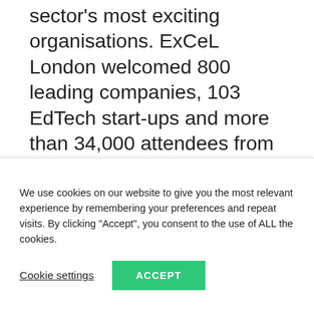sector's most exciting organisations. ExCeL London welcomed 800 leading companies, 103 EdTech start-ups and more than 34,000 attendees from across the education technology space. Mantis' Lilian Smit and Luke Allsop were on the ground to scope out all things EdTech.
The show kicked off with a speech from education
We use cookies on our website to give you the most relevant experience by remembering your preferences and repeat visits. By clicking "Accept", you consent to the use of ALL the cookies.
Cookie settings
ACCEPT